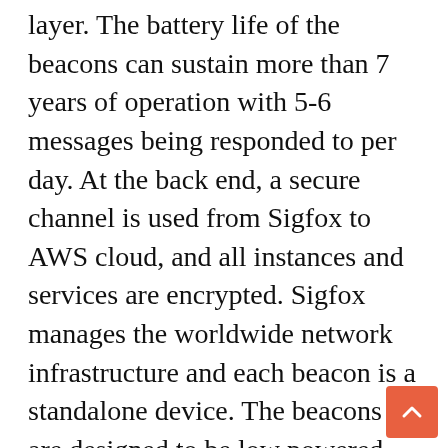layer. The battery life of the beacons can sustain more than 7 years of operation with 5-6 messages being responded to per day. At the back end, a secure channel is used from Sigfox to AWS cloud, and all instances and services are encrypted. Sigfox manages the worldwide network infrastructure and each beacon is a standalone device. The beacons are designed to be low powered devices which utilise event triggers. James adds at this stage in the Australian market, “We do not need to add computing burden complexity, however, the next-generation beacon is already in the work, it will retain all the above benefits at a much more competitive unit cost, and we plan to implem